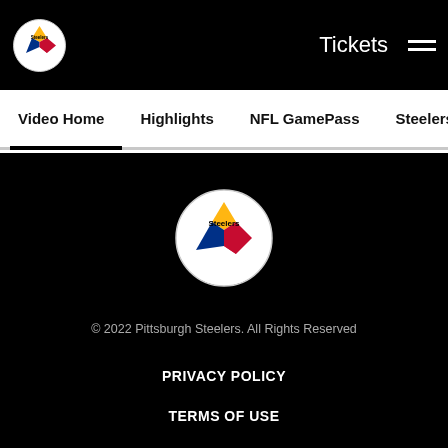Tickets ☰
Video Home  Highlights  NFL GamePass  Steelers Live  The Stan
[Figure (logo): Pittsburgh Steelers logo (large, centered) in footer]
© 2022 Pittsburgh Steelers. All Rights Reserved
PRIVACY POLICY
TERMS OF USE
ACCESSIBILITY
CONTACT US
SITE MAP